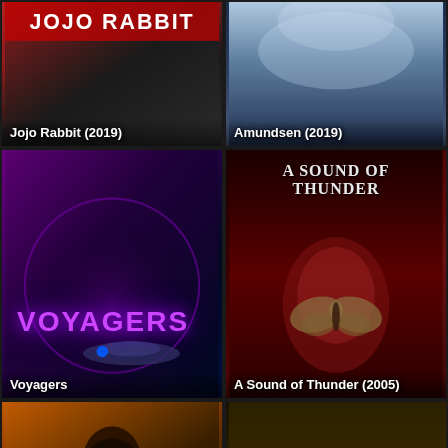[Figure (photo): Movie poster for Jojo Rabbit (2019) - dark background with film title text]
[Figure (photo): Movie poster for Amundsen (2019) - cold blue tones, polar explorer theme]
[Figure (photo): Movie poster for Voyagers - purple/dark space theme with group of young actors and spaceship, pink neon title]
[Figure (photo): Movie poster for A Sound of Thunder (2005) - dark red hand holding a butterfly, dramatic title text]
[Figure (photo): Movie poster - hooded female figure in orange/dark tones]
[Figure (photo): Movie poster - close up of a person's eyes in dark tones]